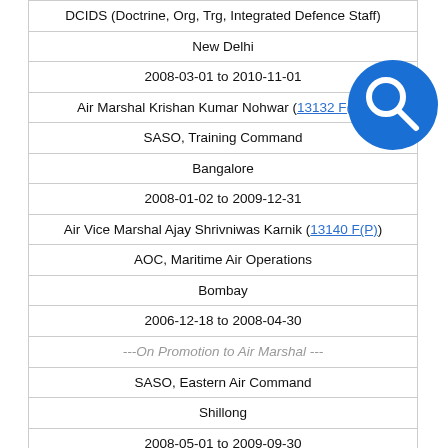| DCIDS (Doctrine, Org, Trg, Integrated Defence Staff) |
| New Delhi |
| 2008-03-01 to 2010-11-01 |
| Air Marshal Krishan Kumar Nohwar (13132 F(P)) |
| SASO, Training Command |
| Bangalore |
| 2008-01-02 to 2009-12-31 |
| Air Vice Marshal Ajay Shrivniwas Karnik (13140 F(P)) |
| AOC, Maritime Air Operations |
| Bombay |
| 2006-12-18 to 2008-04-30 |
| ---On Promotion to Air Marshal --- |
| SASO, Eastern Air Command |
| Shillong |
| 2008-05-01 to 2009-09-30 |
| Air Marshal Gurdip Singh Kochar (13149 F(P)) |
| SASO, Eastern Air Command |